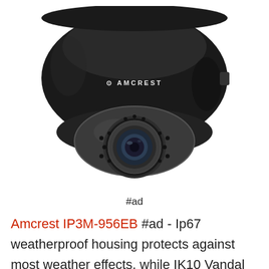[Figure (photo): Amcrest black dome security camera (model IP3M-956EB) viewed from below, showing the camera lens, IR LEDs, and AMCREST logo on the dome housing, against a white background.]
#ad
Amcrest IP3M-956EB #ad - Ip67 weatherproof housing protects against most weather effects, while IK10 Vandal Resistant Housing is able to withstand sudden high-impact. Stay in touch with